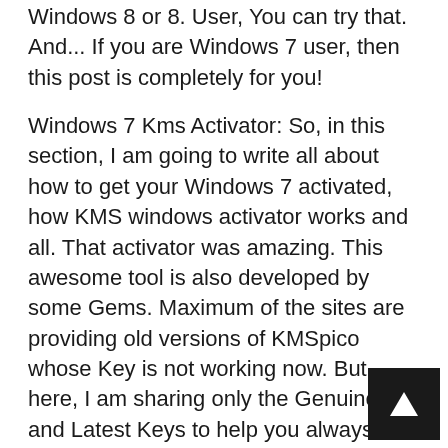Windows 8 or 8. User, You can try that. And... If you are Windows 7 user, then this post is completely for you!
Windows 7 Kms Activator: So, in this section, I am going to write all about how to get your Windows 7 activated, how KMS windows activator works and all. That activator was amazing. This awesome tool is also developed by some Gems. Maximum of the sites are providing old versions of KMSpico whose Key is not working now. But here, I am sharing only the Genuine and Latest Keys to help you always updated! One Important Feature is You do not need an Internet Connection while using the activator or anything.
Just download the Activator, and You can turn off your Data. This activator can be run in Offline Mode also, and that is a Big Plus point in it. You will get Windows 7 Activation for free, does not matter which version it is. Or which edition, It will work with every.